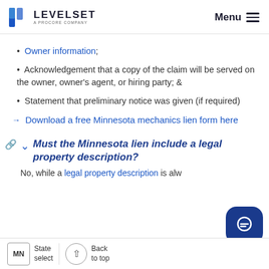LEVELSET A PROCORE COMPANY — Menu
Owner information;
Acknowledgement that a copy of the claim will be served on the owner, owner's agent, or hiring party; &
Statement that preliminary notice was given (if required)
→ Download a free Minnesota mechanics lien form here
Must the Minnesota lien include a legal property description?
No, while a legal property description is alw…
MN State select | Back to top